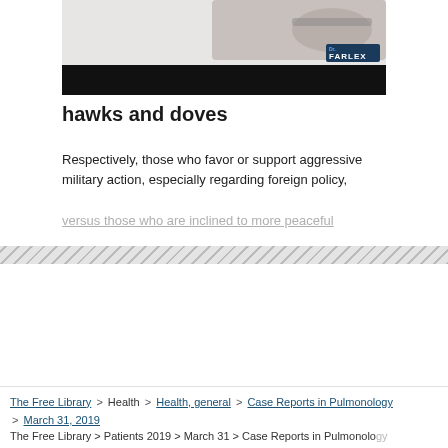[Figure (photo): A hand holding a pen writing on paper, with Farlex logo visible, over a black banner, from a Farlex dictionary video/widget.]
hawks and doves
Respectively, those who favor or support aggressive military action, especially regarding foreign policy, versus those who are inclined to more peaceful...
The Free Library > Health > Health, general > Case Reports in Pulmonology > March 31, 2019 The Free Library > Patients 2019 > March 31 > Case Reports in Pulmonology